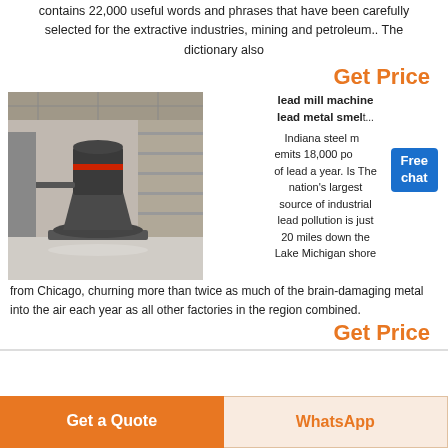contains 22,000 useful words and phrases that have been carefully selected for the extractive industries, mining and petroleum.. The dictionary also
Get Price
[Figure (photo): Industrial mill machine (cone/grinding mill) inside a large factory building with steel framework and shelving in background.]
lead mill machine lead metal smelt Indiana steel mill emits 18,000 pounds of lead a year. Is The nation's largest source of industrial lead pollution is just 20 miles down the Lake Michigan shore from Chicago, churning more than twice as much of the brain-damaging metal into the air each year as all other factories in the region combined.
Get Price
Get a Quote
WhatsApp